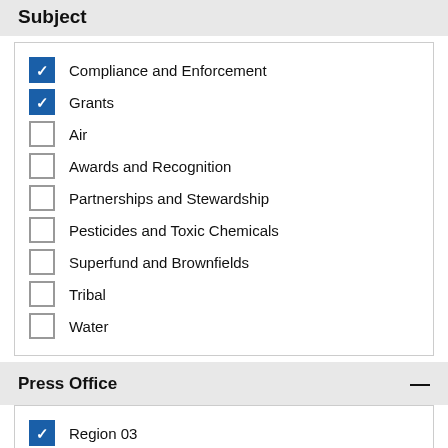Subject
Compliance and Enforcement (checked)
Grants (checked)
Air
Awards and Recognition
Partnerships and Stewardship
Pesticides and Toxic Chemicals
Superfund and Brownfields
Tribal
Water
Press Office
Region 03 (checked)